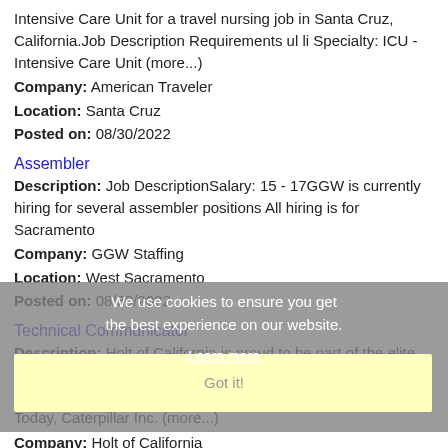Intensive Care Unit for a travel nursing job in Santa Cruz, California.Job Description Requirements ul li Specialty: ICU - Intensive Care Unit (more...)
Company: American Traveler
Location: Santa Cruz
Posted on: 08/30/2022
Assembler
Description: Job DescriptionSalary: 15 - 17GGW is currently hiring for several assembler positions All hiring is for Sacramento
Company: GGW Staffing
Location: West Sacramento
Posted on: 08/30/2022
Technical Communicator
Description: Holt of California is proud to be part of the elite group of Caterpillar dealers worldwide. The Caterpillar name originated in 1904 by inventor Benjamin Holt in Stockton, CA. Today, Caterpillar Inc. (more...)
Company: Holt of California
Location: West Sacramento
Posted on: 08/30/2022
Local Box Truck Drivers